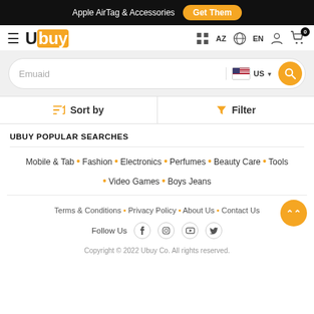Apple AirTag & Accessories  Get Them
[Figure (logo): Ubuy logo with orange square background on 'buy' letters]
Emuaid  US
Sort by  Filter
UBUY POPULAR SEARCHES
Mobile & Tab • Fashion • Electronics • Perfumes • Beauty Care • Tools • Video Games • Boys Jeans
Terms & Conditions • Privacy Policy • About Us • Contact Us
Follow Us
Copyright © 2022 Ubuy Co. All rights reserved.